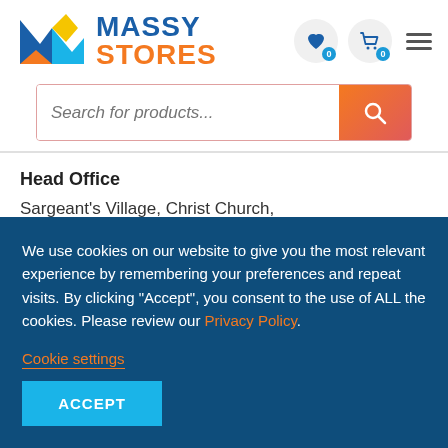[Figure (logo): Massy Stores logo with geometric M icon in blue, orange and teal, and bold text MASSY in blue and STORES in orange]
Search for products...
Head Office
Sargeant's Village, Christ Church,
Bridgetown, Barbados
We use cookies on our website to give you the most relevant experience by remembering your preferences and repeat visits. By clicking “Accept”, you consent to the use of ALL the cookies. Please review our Privacy Policy.
Cookie settings
ACCEPT